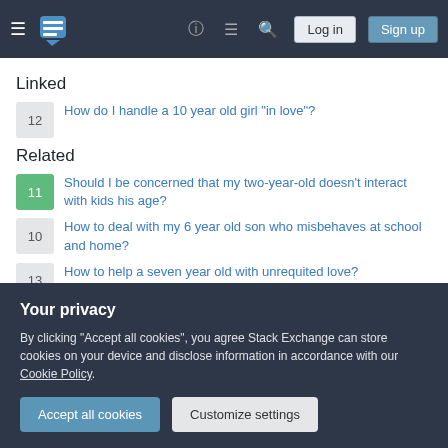Stack Exchange navigation bar with Log in and Sign up buttons
Linked
12 — How do I handle a 10 year old girl "in love"?
Related
11 — Should I be concerned that my two-year-old doesn't interact with kids his age?
10 — How to deal with my 6 year old son who misbehaves at school and home?
13 — How to help a seven year old with unrequited love?
12 — How do I handle a 10 year old girl "in love"?
Your privacy
By clicking "Accept all cookies", you agree Stack Exchange can store cookies on your device and disclose information in accordance with our Cookie Policy.
[Accept all cookies] [Customize settings]
his work by reading?